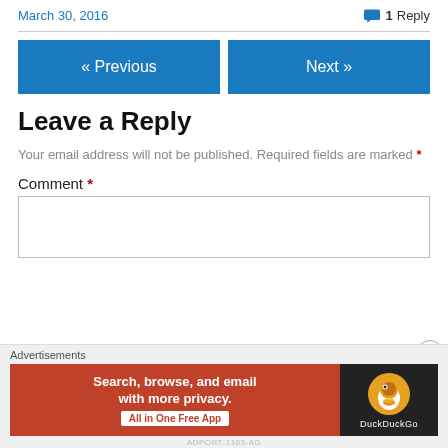March 30, 2016   1 Reply
« Previous   Next »
Leave a Reply
Your email address will not be published. Required fields are marked *
Comment *
[Figure (other): DuckDuckGo advertisement banner: Search, browse, and email with more privacy. All in One Free App]
Advertisements